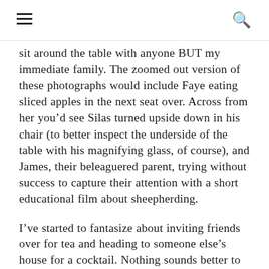≡  🔍
sit around the table with anyone BUT my immediate family. The zoomed out version of these photographs would include Faye eating sliced apples in the next seat over. Across from her you'd see Silas turned upside down in his chair (to better inspect the underside of the table with his magnifying glass, of course), and James, their beleaguered parent, trying without success to capture their attention with a short educational film about sheepherding.
I've started to fantasize about inviting friends over for tea and heading to someone else's house for a cocktail. Nothing sounds better to me than a dinner party with everyone squished around a big table in a small apartment, reveling in the closeness of bodies and